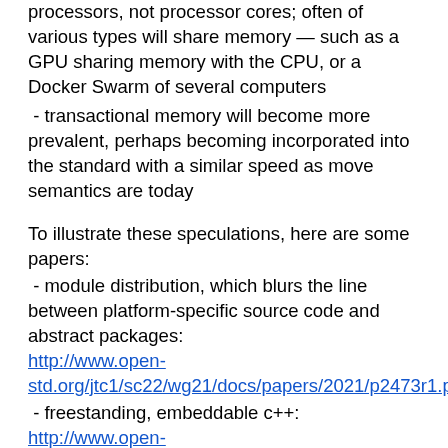processors, not processor cores; often of various types will share memory — such as a GPU sharing memory with the CPU, or a Docker Swarm of several computers
- transactional memory will become more prevalent, perhaps becoming incorporated into the standard with a similar speed as move semantics are today
To illustrate these speculations, here are some papers:
- module distribution, which blurs the line between platform-specific source code and abstract packages: http://www.open-std.org/jtc1/sc22/wg21/docs/papers/2021/p2473r1.pdf
- freestanding, embeddable c++: http://www.open-std.org/JTC1/SC22/WG21/docs/papers/2021/p2338r0.html
- minimalist transactional memory: http://www.open-std.org/JTC1/SC22/WG21/docs/papers/2021/p1875r2.pdf
These papers are meant to illustrate a trend towards scale-independent processing with highly distributed programs.